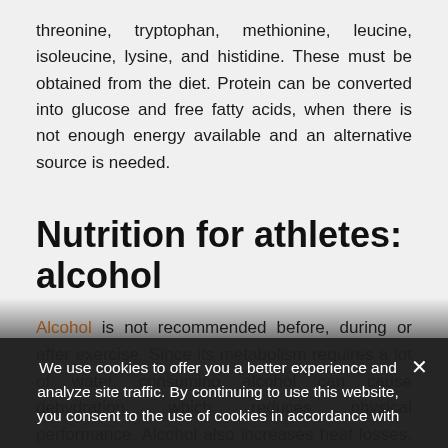threonine, tryptophan, methionine, leucine, isoleucine, lysine, and histidine. These must be obtained from the diet. Protein can be converted into glucose and free fatty acids, when there is not enough energy available and an alternative source is needed.
Nutrition for athletes: alcohol
Alcohol is not recommended before, during or after exercise. Since its metabolism requires a lot of water, consuming alcohol can cause dehydration, which reduces physical performance. Alcohol also increases heat losses, causes vasod[ilation…]
We use cookies to offer you a better experience and analyze site traffic. By continuing to use this website, you consent to the use of cookies in accordance with